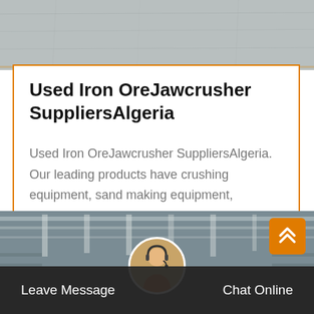[Figure (photo): Gray concrete or stone textured surface photo at top of page]
Used Iron OreJawcrusher SuppliersAlgeria
Used Iron OreJawcrusher SuppliersAlgeria. Our leading products have crushing equipment, sand making equipment, mobilecrusher;The products includes five series:crusher, sand making machine, powder grinding mill, mineral processing…
Get Price
[Figure (photo): Industrial warehouse or factory interior with overhead lighting and metal shelving]
Leave Message   Chat Online